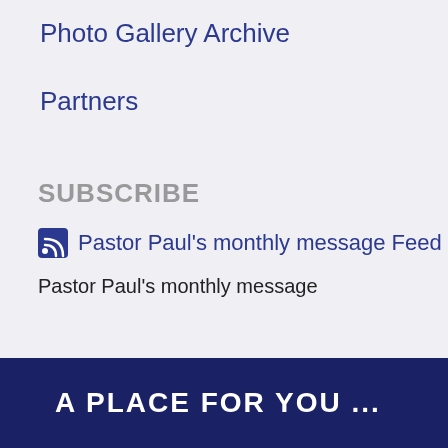Photo Gallery Archive
Partners
SUBSCRIBE
Pastor Paul's monthly message Feed
Pastor Paul's monthly message
A PLACE FOR YOU ...